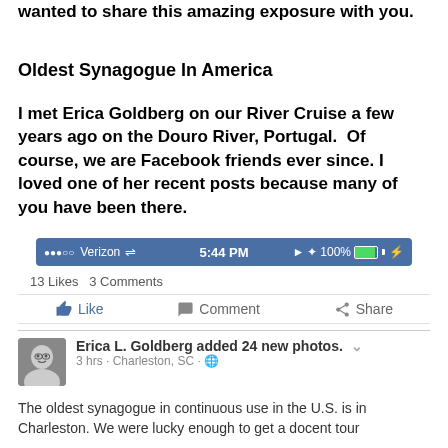wanted to share this amazing exposure with you.
Oldest Synagogue In America
I met Erica Goldberg on our River Cruise a few years ago on the Douro River, Portugal.  Of course, we are Facebook friends ever since. I loved one of her recent posts because many of you have been there.
[Figure (screenshot): iOS status bar showing Verizon signal, 5:44 PM time, and 100% battery]
13 Likes   3 Comments
Like   Comment   Share
[Figure (screenshot): Facebook post by Erica L. Goldberg with avatar photo, added 24 new photos, 3 hrs · Charleston, SC]
The oldest synagogue in continuous use in the U.S. is in Charleston. We were lucky enough to get a docent tour